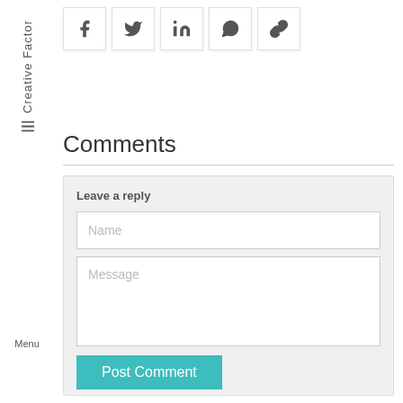[Figure (other): Social share buttons: Facebook, Twitter, LinkedIn, WhatsApp, Link/Copy icons in square white boxes with light shadow]
Comments
[Figure (screenshot): Leave a reply comment form with Name input field, Message textarea, and Post Comment button on a light gray background. Watermark 'CF+' visible in background.]
Menu